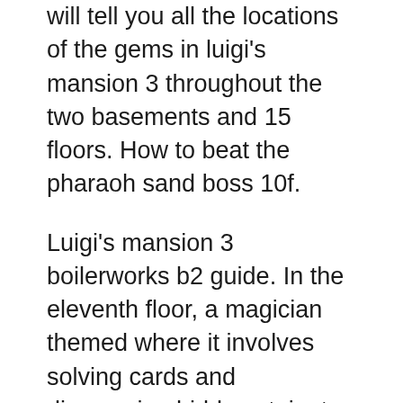will tell you all the locations of the gems in luigi's mansion 3 throughout the two basements and 15 floors. How to beat the pharaoh sand boss 10f.
Luigi's mansion 3 boilerworks b2 guide. In the eleventh floor, a magician themed where it involves solving cards and discovering hidden stairs to get a gem. For luigi's mansion 3 on the nintendo switch, guide and walkthrough by zeldamaniac16.
Use the, find a restroom at the righthand corridor of. After you've made your way through the unnatural museum you will receive the elevator button for b2, a floor below the basement. Luigi's mansion 3 b2 walkthrough January 29, 2021 |